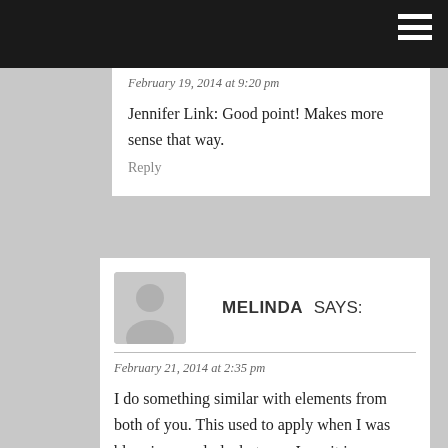February 19, 2014 at 9:20 pm
Jennifer Link: Good point! Makes more sense that way.
Reply
MELINDA SAYS:
February 21, 2014 at 2:35 pm
I do something similar with elements from both of you. This used to apply when I was blogging regularly, but now I use it in my work for advertising. But my dyslexia prevents me from doing a solid number so I implement a “2014.02.21 – Blog Title” that way it breaks up the numbers and I’m not